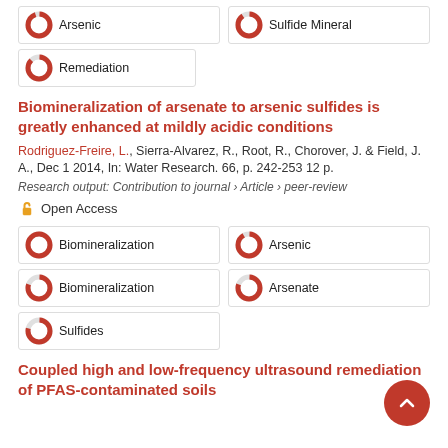Arsenic
Sulfide Mineral
Remediation
Biomineralization of arsenate to arsenic sulfides is greatly enhanced at mildly acidic conditions
Rodriguez-Freire, L., Sierra-Alvarez, R., Root, R., Chorover, J. & Field, J. A., Dec 1 2014, In: Water Research. 66, p. 242-253 12 p.
Research output: Contribution to journal › Article › peer-review
Open Access
Biomineralization
Arsenic
Biomineralization
Arsenate
Sulfides
Coupled high and low-frequency ultrasound remediation of PFAS-contaminated soils